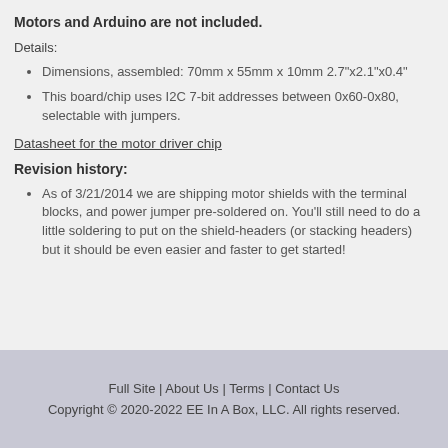Motors and Arduino are not included.
Details:
Dimensions, assembled: 70mm x 55mm x 10mm 2.7"x2.1"x0.4"
This board/chip uses I2C 7-bit addresses between 0x60-0x80, selectable with jumpers.
Datasheet for the motor driver chip
Revision history:
As of 3/21/2014 we are shipping motor shields with the terminal blocks, and power jumper pre-soldered on. You'll still need to do a little soldering to put on the shield-headers (or stacking headers) but it should be even easier and faster to get started!
Full Site | About Us | Terms | Contact Us
Copyright © 2020-2022 EE In A Box, LLC. All rights reserved.